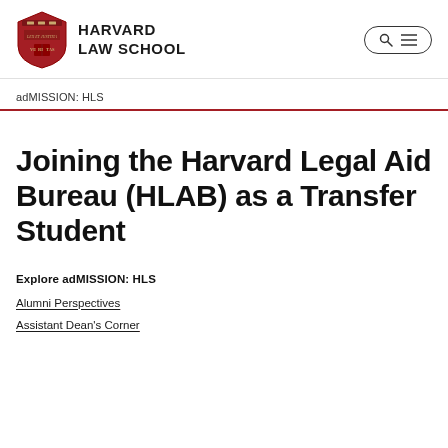[Figure (logo): Harvard Law School shield logo and wordmark]
adMISSION: HLS
Joining the Harvard Legal Aid Bureau (HLAB) as a Transfer Student
Explore adMISSION: HLS
Alumni Perspectives
Assistant Dean's Corner